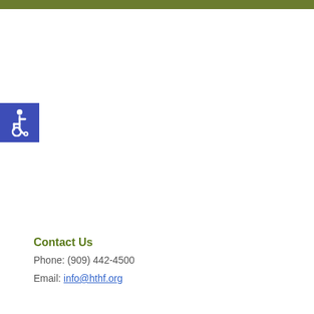[Figure (illustration): Wheelchair accessibility icon — white wheelchair user symbol on a blue square background]
Contact Us
Phone: (909) 442-4500
Email: info@hthf.org